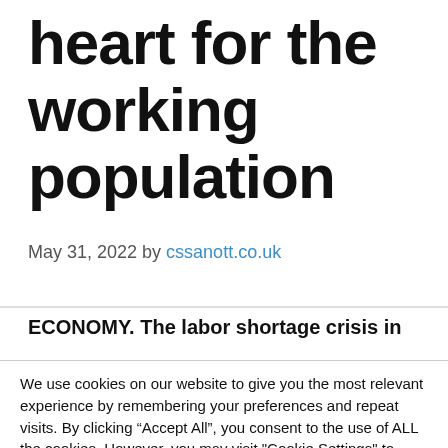heart for the working population
May 31, 2022 by cssanott.co.uk
ECONOMY. The labor shortage crisis in
We use cookies on our website to give you the most relevant experience by remembering your preferences and repeat visits. By clicking “Accept All”, you consent to the use of ALL the cookies. However, you may visit "Cookie Settings" to provide a controlled consent.